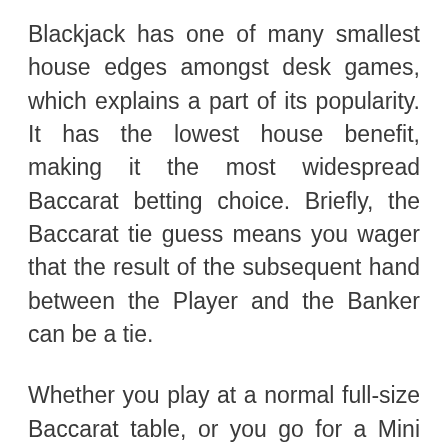Blackjack has one of many smallest house edges amongst desk games, which explains a part of its popularity. It has the lowest house benefit, making it the most widespread Baccarat betting choice. Briefly, the Baccarat tie guess means you wager that the result of the subsequent hand between the Player and the Banker can be a tie.
Whether you play at a normal full-size Baccarat table, or you go for a Mini Baccarat desk, you will notice that The Player betting space is the closest to you. The dealer will